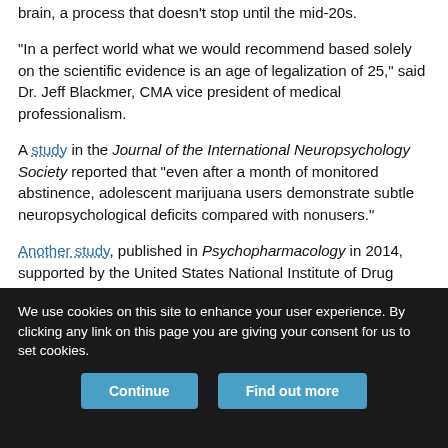brain, a process that doesn't stop until the mid-20s.
“In a perfect world what we would recommend based solely on the scientific evidence is an age of legalization of 25,” said Dr. Jeff Blackmer, CMA vice president of medical professionalism.
A study in the Journal of the International Neuropsychology Society reported that “even after a month of monitored abstinence, adolescent marijuana users demonstrate subtle neuropsychological deficits compared with nonusers.”
Another study, published in Psychopharmacology in 2014, supported by the United States National Institute of Drug Abuse, found that “early onset of [marijuana] use negatively impacts white matter
We use cookies on this site to enhance your user experience. By clicking any link on this page you are giving your consent for us to set cookies.